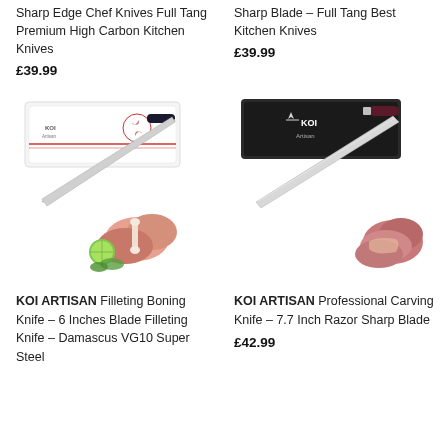Sharp Edge Chef Knives Full Tang Premium High Carbon Kitchen Knives
£39.99
Sharp Blade – Full Tang Best Kitchen Knives
£39.99
[Figure (photo): KOI ARTISAN filleting boning knife in white box packaging with meat and lime garnish]
[Figure (photo): KOI ARTISAN professional carving knife in dark box packaging with sliced meat]
KOI ARTISAN Filleting Boning Knife – 6 Inches Blade Filleting Knife – Damascus VG10 Super Steel
KOI ARTISAN Professional Carving Knife – 7.7 Inch Razor Sharp Blade
£42.99